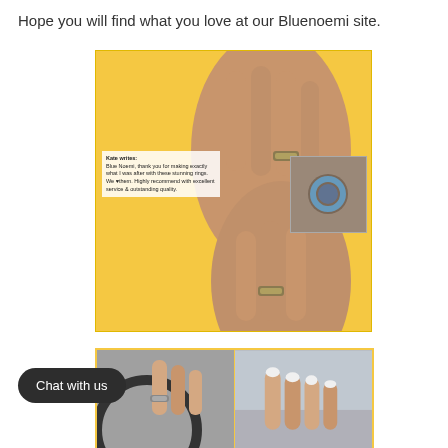Hope you will find what you love at our Bluenoemi site.
[Figure (photo): Promotional photo collage on yellow background showing two hands wearing decorative rings, with inset photos of a ring close-up and a ring on stone. Customer review text overlay from 'Kate' is visible. Floral decorations in corners.]
[Figure (photo): Two side-by-side photos showing a hand wearing a decorative silver ring, photographed in a car interior near a steering wheel.]
Chat with us